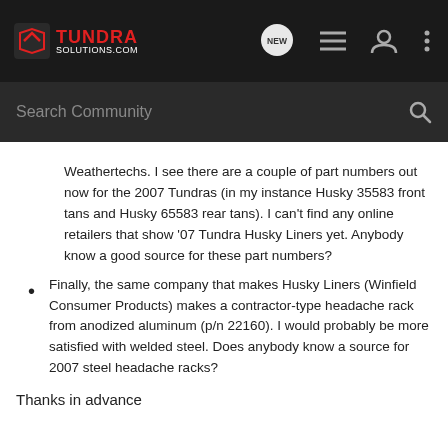TundraSolutions.com — Navigation header with logo, NEW chat bubble, list icon, user icon, more icon
Search Community
Weathertechs. I see there are a couple of part numbers out now for the 2007 Tundras (in my instance Husky 35583 front tans and Husky 65583 rear tans). I can't find any online retailers that show '07 Tundra Husky Liners yet. Anybody know a good source for these part numbers?
Finally, the same company that makes Husky Liners (Winfield Consumer Products) makes a contractor-type headache rack from anodized aluminum (p/n 22160). I would probably be more satisfied with welded steel. Does anybody know a source for 2007 steel headache racks?
Thanks in advance